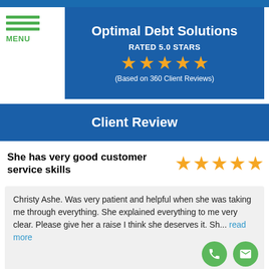Optimal Debt Solutions — RATED 5.0 STARS (Based on 360 Client Reviews)
Optimal Debt Solutions
RATED 5.0 STARS
(Based on 360 Client Reviews)
Client Review
She has very good customer service skills
Christy Ashe. Was very patient and helpful when she was taking me through everything. She explained everything to me very clear. Please give her a raise I think she deserves it. Sh... read more